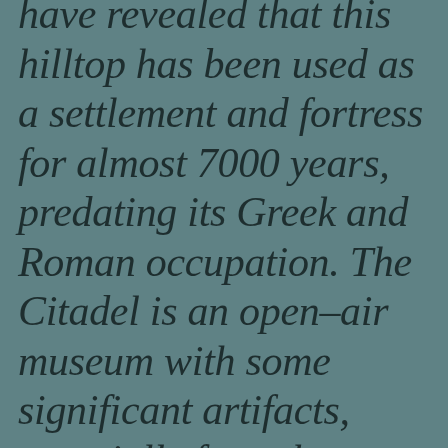have revealed that this hilltop has been used as a settlement and fortress for almost 7000 years, predating its Greek and Roman occupation. The Citadel is an open–air museum with some significant artifacts, especially from the Greek